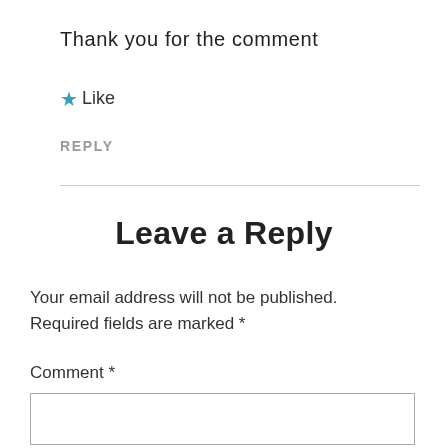Thank you for the comment
★ Like
REPLY
Leave a Reply
Your email address will not be published. Required fields are marked *
Comment *